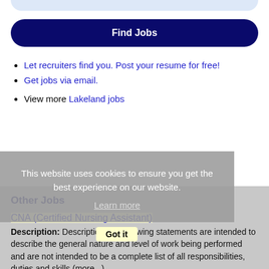[Figure (other): Top rounded light blue bar at top of page]
Find Jobs
Let recruiters find you. Post your resume for free!
Get jobs via email.
View more Lakeland jobs
This website uses cookies to ensure you get the best experience on our website. Learn more
Other Jobs
CNA (Certified Nursing Assistant)
Description: DescriptionThe following statements are intended to describe the general nature and level of work being performed and are not intended to be a complete list of all responsibilities, duties and skills (more...)